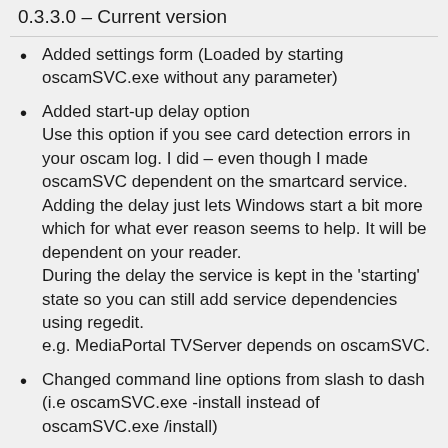0.3.3.0 – Current version
Added settings form (Loaded by starting oscamSVC.exe without any parameter)
Added start-up delay option
Use this option if you see card detection errors in your oscam log. I did – even though I made oscamSVC dependent on the smartcard service. Adding the delay just lets Windows start a bit more which for what ever reason seems to help. It will be dependent on your reader.
During the delay the service is kept in the 'starting' state so you can still add service dependencies using regedit.
e.g. MediaPortal TVServer depends on oscamSVC.
Changed command line options from slash to dash (i.e oscamSVC.exe -install instead of oscamSVC.exe /install)